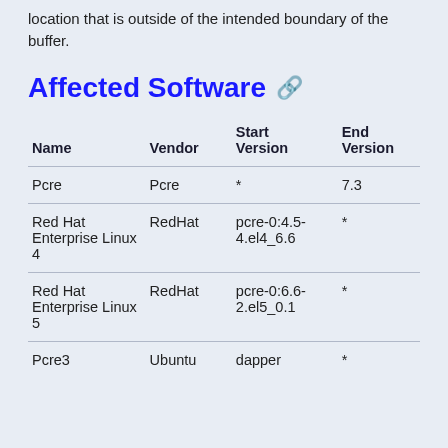location that is outside of the intended boundary of the buffer.
Affected Software
| Name | Vendor | Start Version | End Version |
| --- | --- | --- | --- |
| Pcre | Pcre | * | 7.3 |
| Red Hat Enterprise Linux 4 | RedHat | pcre-0:4.5-4.el4_6.6 | * |
| Red Hat Enterprise Linux 5 | RedHat | pcre-0:6.6-2.el5_0.1 | * |
| Pcre3 | Ubuntu | dapper | * |